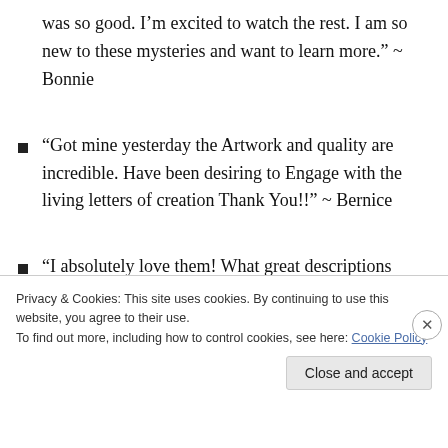was so good. I’m excited to watch the rest. I am so new to these mysteries and want to learn more.” ~ Bonnie
“Got mine yesterday the Artwork and quality are incredible. Have been desiring to Engage with the living letters of creation Thank You!!” ~ Bernice
“I absolutely love them! What great descriptions about
Privacy & Cookies: This site uses cookies. By continuing to use this website, you agree to their use.
To find out more, including how to control cookies, see here: Cookie Policy
Close and accept